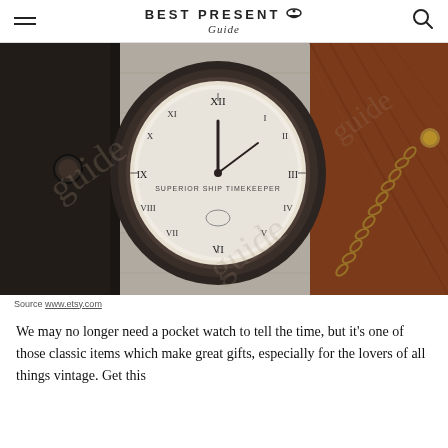BEST PRESENT Guide
[Figure (photo): A vintage pocket watch with roman numerals and 'Superior Ship Timekeeper' text on the face, shown partially in a dark leather case beside a wooden box and brass chain, on a grey wooden surface. Watermark showing 'guide' overlaid.]
Source www.etsy.com
We may no longer need a pocket watch to tell the time, but it's one of those classic items which make great gifts, especially for the lovers of all things vintage. Get this